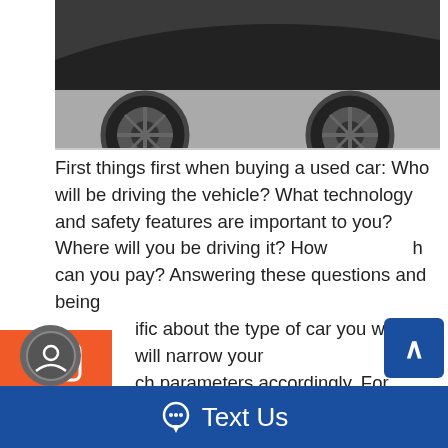[Figure (photo): Partial view of a dark colored car from below, showing wheels and undercarriage on a gray road surface]
First things first when buying a used car: Who will be driving the vehicle? What technology and safety features are important to you? Where will you be driving it? How much can you pay? Answering these questions and being specific about the type of car you want will narrow your search parameters accordingly. For instance, you might be saying, "I can pay up to $25,000 for a late model Ford Mustang, Chevrolet Camaro or a Dodge Challenger equipped with a V8 engine, GPS and outfitted with leather seats. I will use this car as my daily driver." At this point, you have targeted your inventory to focus on only large, sports coupes. With your choices sufficiently narrowed, it is time to evaluate what is left in a bid to shrink your search parameters further. Do you want a car with good
[Figure (screenshot): Orange sidebar widget with phone/text/chat icons and Text Us label, and blue Text Us bar at bottom of page]